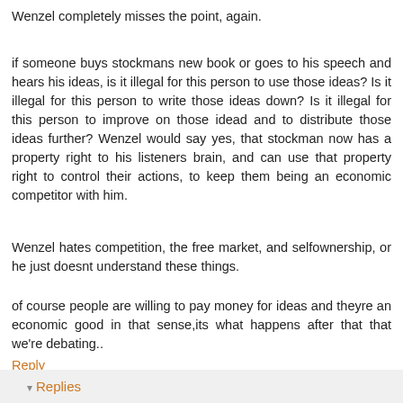Wenzel completely misses the point, again.
if someone buys stockmans new book or goes to his speech and hears his ideas, is it illegal for this person to use those ideas? Is it illegal for this person to write those ideas down? Is it illegal for this person to improve on those idead and to distribute those ideas further? Wenzel would say yes, that stockman now has a property right to his listeners brain, and can use that property right to control their actions, to keep them being an economic competitor with him.
Wenzel hates competition, the free market, and selfownership, or he just doesnt understand these things.
of course people are willing to pay money for ideas and theyre an economic good in that sense,its what happens after that that we're debating..
Reply
Replies